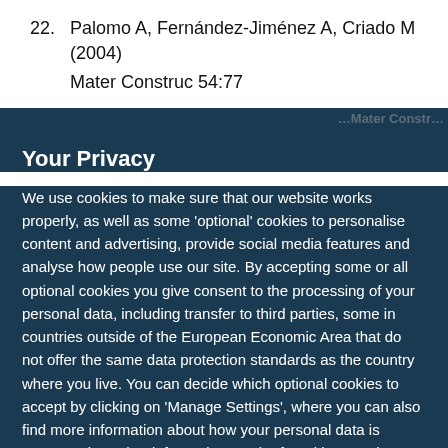22. Palomo A, Fernández-Jiménez A, Criado M (2004) Mater Construc 54:77
Your Privacy
We use cookies to make sure that our website works properly, as well as some 'optional' cookies to personalise content and advertising, provide social media features and analyse how people use our site. By accepting some or all optional cookies you give consent to the processing of your personal data, including transfer to third parties, some in countries outside of the European Economic Area that do not offer the same data protection standards as the country where you live. You can decide which optional cookies to accept by clicking on 'Manage Settings', where you can also find more information about how your personal data is processed. Further information can be found in our privacy policy.
Accept all cookies
Manage preferences